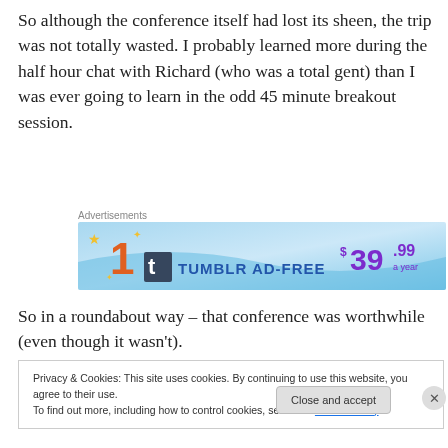So although the conference itself had lost its sheen, the trip was not totally wasted. I probably learned more during the half hour chat with Richard (who was a total gent) than I was ever going to learn in the odd 45 minute breakout session.
[Figure (other): Advertisement banner for Tumblr Ad-Free subscription at $39.99 a year, with blue gradient background and yellow star decorations]
So in a roundabout way – that conference was worthwhile (even though it wasn't).
Privacy & Cookies: This site uses cookies. By continuing to use this website, you agree to their use.
To find out more, including how to control cookies, see here: Cookie Policy